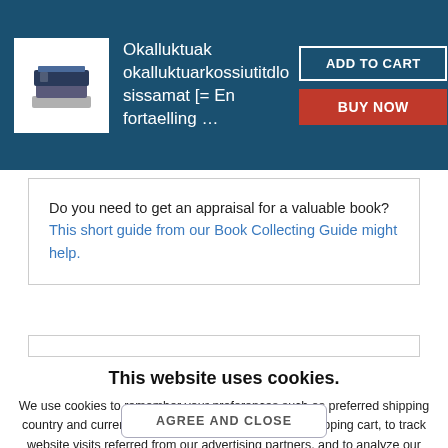Okalluktuak okalluktuarkossiutitdlosissamat [= En fortaelling …
Do you need to get an appraisal for a valuable book? This short guide from our Book Collecting Guide might help.
This website uses cookies.
We use cookies to remember your preferences such as preferred shipping country and currency, to save items placed in your shopping cart, to track website visits referred from our advertising partners, and to analyze our website traffic. Manage your privacy settings.
AGREE AND CLOSE